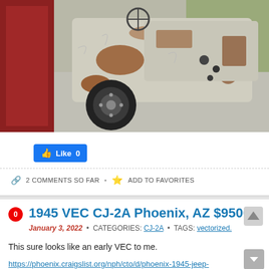[Figure (photo): Rusted and deteriorated 1945 Willys Jeep CJ-2A photographed from the rear quarter, showing heavy rust and peeling white paint, parked on concrete near a red structure, with grass visible in background.]
Like 0
2 COMMENTS SO FAR • ADD TO FAVORITES
1945 VEC CJ-2A Phoenix, AZ $9500
January 3, 2022 • CATEGORIES: CJ-2A • TAGS: vectorized.
This sure looks like an early VEC to me.
https://phoenix.craigslist.org/nph/cto/d/phoenix-1945-jeep-